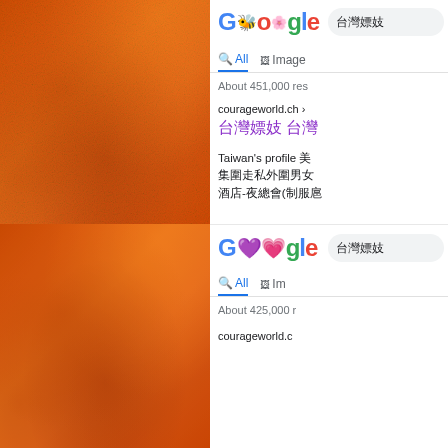[Figure (screenshot): Google search results page showing two identical searches for '台灣嫖妓' with different Google Doodle logos (bee doodle top, hearts doodle bottom). Left half shows orange/rust textured background. Results show courageworld.ch listing with Chinese text.]
台灣嫖妓
All  Images
About 451,000 res
courageworld.ch ›
台灣嫖妓 台灣
Taiwan's profile 美
集圍走私外圍男女
酒店-夜總會(制服扈
台灣嫖妓
All  Im
About 425,000 r
courageworld.c